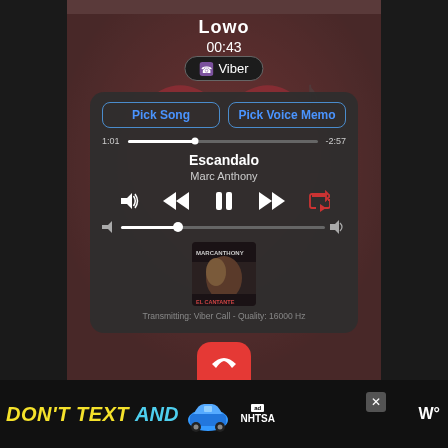[Figure (screenshot): iOS screen showing a Viber call in progress with a music sharing interface. Shows caller name 'Lowo', call time '00:43', Viber button, a music player card with song 'Escandalo' by Marc Anthony at 1:01 / -2:57, playback controls, volume slider, album art, and transmit info 'Transmitting: Viber Call - Quality: 16000 Hz'. A red end-call button is partially visible.]
Lowo
00:43
Viber
Pick Song
Pick Voice Memo
1:01
-2:57
Escandalo
Marc Anthony
Transmitting: Viber Call -  Quality: 16000 Hz
DON'T TEXT AND
NHTSA